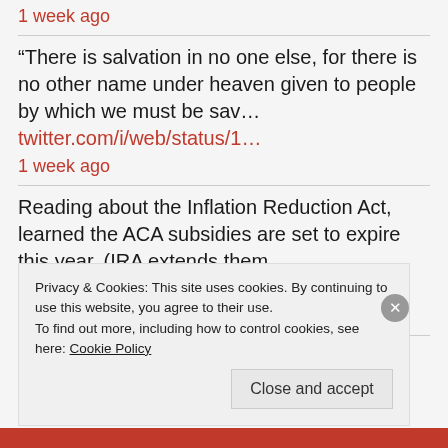1 week ago
“There is salvation in no one else, for there is no other name under heaven given to people by which we must be sav… twitter.com/i/web/status/1…
1 week ago
Reading about the Inflation Reduction Act, learned the ACA subsidies are set to expire this year. (IRA extends them… twitter.com/i/web/status/1…
1 week ago
Privacy & Cookies: This site uses cookies. By continuing to use this website, you agree to their use.
To find out more, including how to control cookies, see here: Cookie Policy
Close and accept